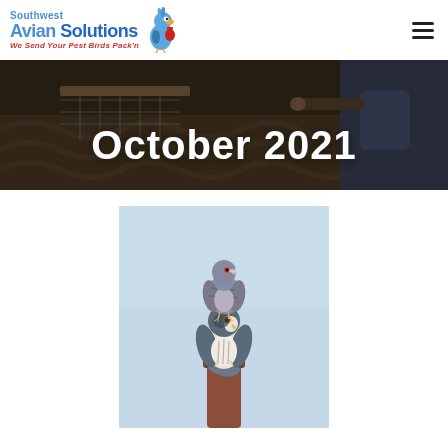[Figure (logo): Southwest Avian Solutions logo with blue cartoon bird and text 'We Send Your Pest Birds Pack'n']
October 2021
[Figure (photo): Photo of two birds - a pigeon perched on top of a falcon/hawk, both sitting on a post, against a light blue sky background]